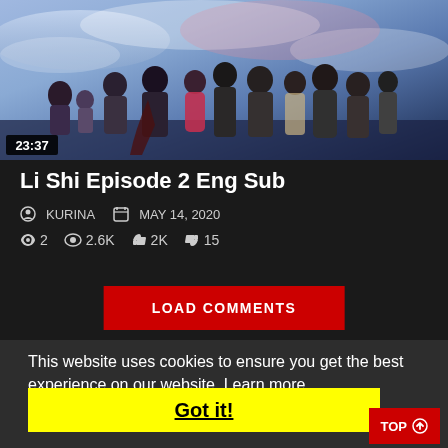[Figure (screenshot): Anime video thumbnail showing multiple anime characters standing together against a blue and purple sky background with a duration timestamp of 23:37]
Li Shi Episode 2 Eng Sub
KURINA  MAY 14, 2020  2  2.6K  2K  15
LOAD COMMENTS
This website uses cookies to ensure you get the best experience on our website. Learn more
Got it!
TOP